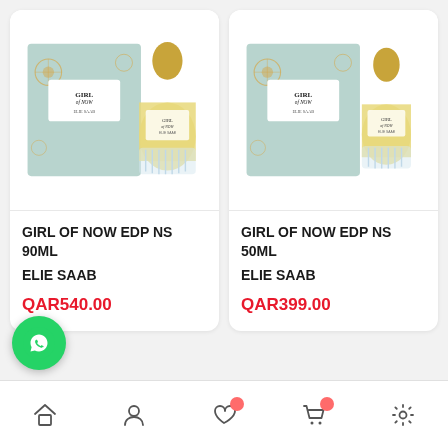[Figure (photo): Product photo: Elie Saab Girl of Now EDP 90ml perfume bottle with box on white background]
GIRL OF NOW EDP NS 90ML
ELIE SAAB
QAR540.00
[Figure (photo): Product photo: Elie Saab Girl of Now EDP 50ml perfume bottle with box on white background]
GIRL OF NOW EDP NS 50ML
ELIE SAAB
QAR399.00
Navigation bar with home, account, wishlist, cart, settings icons